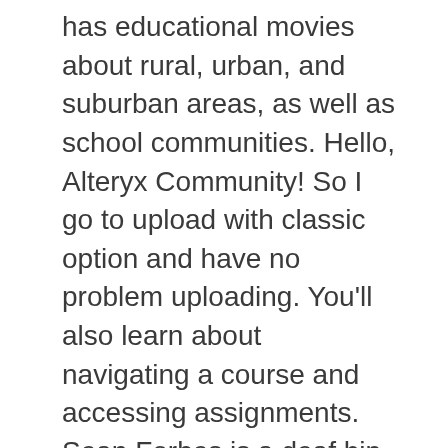has educational movies about rural, urban, and suburban areas, as well as school communities. Hello, Alteryx Community! So I go to upload with classic option and have no problem uploading. You'll also learn about navigating a course and accessing assignments. Sean Forbes is a deaf hip-hop artist who makes music accessible to the deaf community. News on Japan, Business News, Opinion, Sports, Entertainment and More The article you have been looking for has expired and is not longer available on our system. See the shenanigans before... Facebook is showing information to help you better understand the purpose of a Vince Rozmiarek, a Colorado native and the man